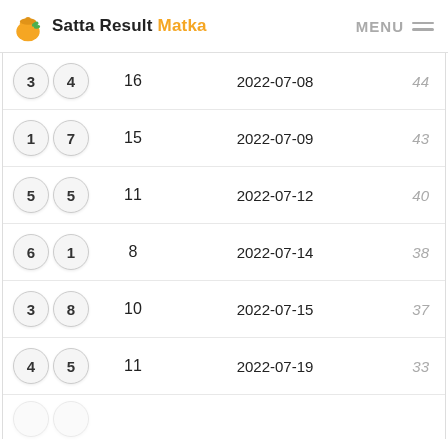Satta Result Matka
| Balls | Num | Date | Rank |
| --- | --- | --- | --- |
| 3 4 | 16 | 2022-07-08 | 44 |
| 1 7 | 15 | 2022-07-09 | 43 |
| 5 5 | 11 | 2022-07-12 | 40 |
| 6 1 | 8 | 2022-07-14 | 38 |
| 3 8 | 10 | 2022-07-15 | 37 |
| 4 5 | 11 | 2022-07-19 | 33 |
Play Now
M  »